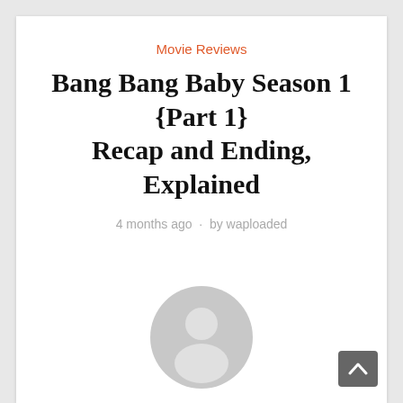Movie Reviews
Bang Bang Baby Season 1 {Part 1} Recap and Ending, Explained
4 months ago · by waploaded
[Figure (illustration): Default user avatar — a grey circular silhouette with a person icon (head and shoulders), used as a placeholder profile picture.]